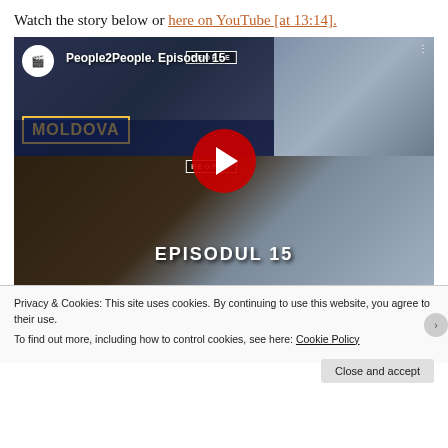Watch the story below or here on YouTube [at 13:14].
[Figure (screenshot): YouTube video thumbnail for 'People2People. Episodul 15' showing multiple people including a man holding a Moldova banner and a woman with glasses; a red play button overlay is centered.]
Privacy & Cookies: This site uses cookies. By continuing to use this website, you agree to their use. To find out more, including how to control cookies, see here: Cookie Policy